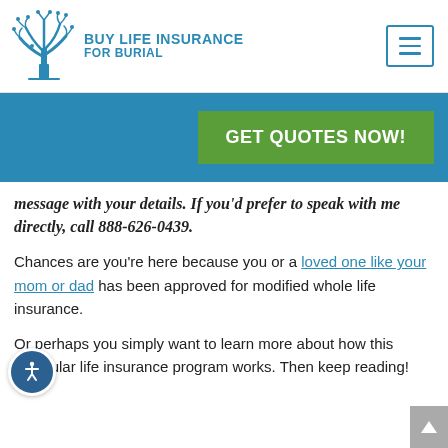[Figure (logo): Buy Life Insurance For Burial logo with blue tree illustration and text]
message with your details. If you'd prefer to speak with me directly, call 888-626-0439.
Chances are you're here because you or a loved one like your mom or dad has been approved for modified whole life insurance.
Or perhaps you simply want to learn more about how this particular life insurance program works. Then keep reading!